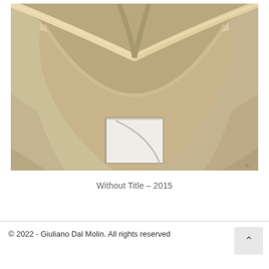[Figure (photo): An architectural sculpture or model photographed from below, showing a large curved arch form in warm beige/tan tones with crossing diagonal ridges at the top, and a small rectangular opening at the center bottom with a white curved element inside it.]
Without Title – 2015
© 2022 - Giuliano Dal Molin. All rights reserved